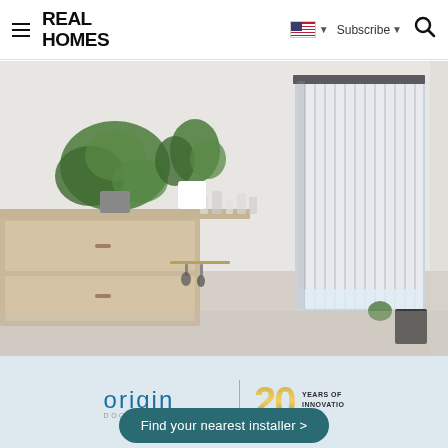Real Homes | Subscribe | Search
[Figure (photo): Interior room photo showing vertical grey/charcoal blinds on a window, with potted green plants on a light wood shelving unit, glasses and vases on a counter, minimalist Scandinavian style.]
[Figure (logo): Origin Doors and Windows logo with '20 Years of Innovation' badge in gold and dark text]
Find your nearest installer >